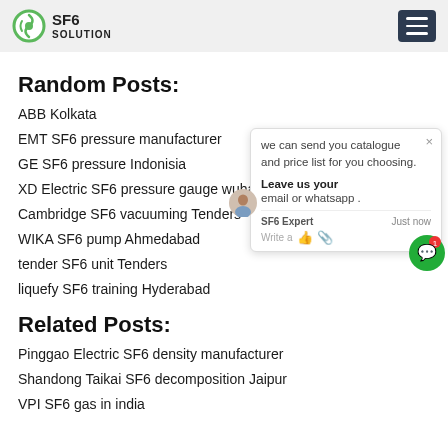SF6 SOLUTION
Random Posts:
ABB Kolkata
EMT SF6 pressure manufacturer
GE SF6 pressure Indonisia
XD Electric SF6 pressure gauge wuhan
Cambridge SF6 vacuuming Tenders
WIKA SF6 pump Ahmedabad
tender SF6 unit Tenders
liquefy SF6 training Hyderabad
Related Posts:
Pinggao Electric SF6 density manufacturer
Shandong Taikai SF6 decomposition Jaipur
VPI SF6 gas in india